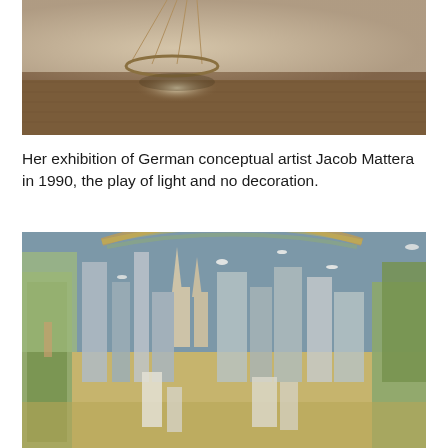[Figure (photo): A dimly lit gallery room with warm beige walls and wooden floor. A circular metal ring hangs from the ceiling on thin wires, casting a circular spotlight on the floor beneath it.]
Her exhibition of German conceptual artist Jacob Mattera in 1990, the play of light and no decoration.
[Figure (photo): A densely detailed painting or tapestry showing a panoramic cityscape filled with buildings, churches, trees, birds, and a rainbow arcing across the sky. The style is ornate and richly colored with blues, greens, golds, and earth tones.]